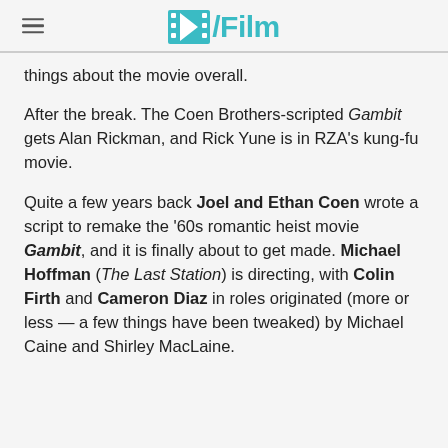/Film
things about the movie overall.
After the break. The Coen Brothers-scripted Gambit gets Alan Rickman, and Rick Yune is in RZA's kung-fu movie.
Quite a few years back Joel and Ethan Coen wrote a script to remake the '60s romantic heist movie Gambit, and it is finally about to get made. Michael Hoffman (The Last Station) is directing, with Colin Firth and Cameron Diaz in roles originated (more or less — a few things have been tweaked) by Michael Caine and Shirley MacLaine.